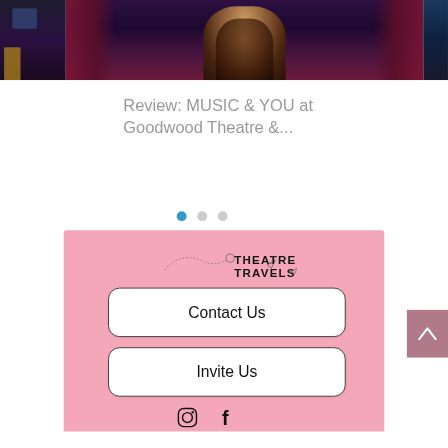[Figure (photo): Photo strip of performer on stage with red/purple curtains and dark background. Three partial images visible - left edge, center (main image of performer in sparkly outfit), right edge.]
Review: MUSIC & YOU at Goodwood Theatre &...
[Figure (other): Pagination dots - three dots, first one blue/active, two gray]
[Figure (logo): Theatre Travels logo with decorative dotted path and paper airplane icon]
Contact Us
Invite Us
[Figure (other): Social media icons - Instagram and Facebook]
[Figure (other): Back to top button with upward arrow, mauve/rose background]